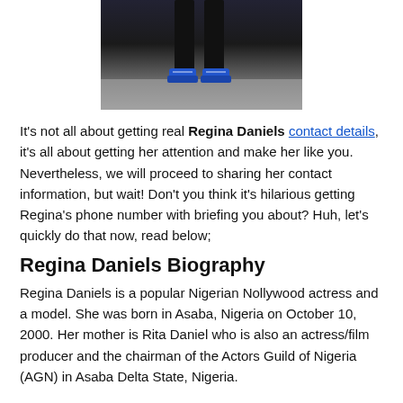[Figure (photo): Photo of person from waist down wearing black pants and blue sneakers on a concrete surface]
It's not all about getting real Regina Daniels contact details, it's all about getting her attention and make her like you. Nevertheless, we will proceed to sharing her contact information, but wait! Don't you think it's hilarious getting Regina's phone number with briefing you about? Huh, let's quickly do that now, read below;
Regina Daniels Biography
Regina Daniels is a popular Nigerian Nollywood actress and a model. She was born in Asaba, Nigeria on October 10, 2000. Her mother is Rita Daniel who is also an actress/film producer and the chairman of the Actors Guild of Nigeria (AGN) in Asaba Delta State, Nigeria.